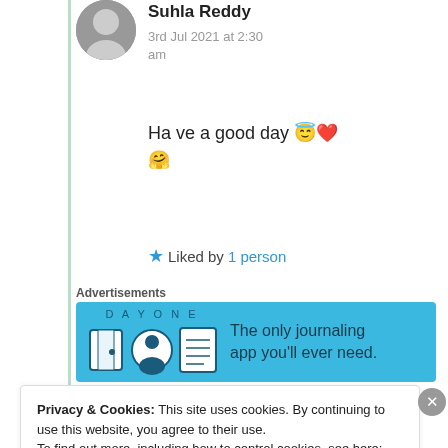Suhla Reddy
3rd Jul 2021 at 2:30 am
Ha ve a good day 😇❤️🤗
★ Liked by 1 person
Advertisements
[Figure (screenshot): Day One app advertisement banner: blue background with icons and text 'The only journaling app you'll ever need.']
REPORT THIS AD
Privacy & Cookies: This site uses cookies. By continuing to use this website, you agree to their use.
To find out more, including how to control cookies, see here: Cookie Policy
Close and accept